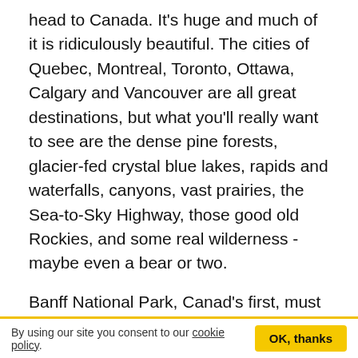head to Canada. It's huge and much of it is ridiculously beautiful. The cities of Quebec, Montreal, Toronto, Ottawa, Calgary and Vancouver are all great destinations, but what you'll really want to see are the dense pine forests, glacier-fed crystal blue lakes, rapids and waterfalls, canyons, vast prairies, the Sea-to-Sky Highway, those good old Rockies, and some real wilderness - maybe even a bear or two.
Banff National Park, Canad's first, must have more gob-smacking natural sights than most countries, including the Moraine Lake, Lake Louise, Peyto Lake and Sunshine Meadows and meandering creatures from elk and bighorn sheep to black bears and grizzlies. Whistler in British Columbia is a world-renowned ski and snowboarding resort, which you can't miss if you're here during the winter season. Heading north west to Nunavik in Quebec, you'll get a taste of Inuit culture and see musk-ox, arctic foxes,
By using our site you consent to our cookie policy. OK, thanks